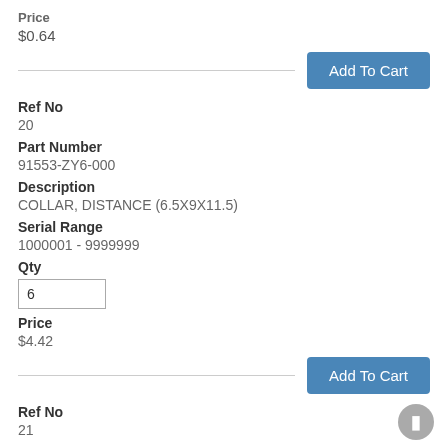Price
$0.64
Add To Cart
Ref No
20
Part Number
91553-ZY6-000
Description
COLLAR, DISTANCE (6.5X9X11.5)
Serial Range
1000001 - 9999999
Qty
6
Price
$4.42
Add To Cart
Ref No
21